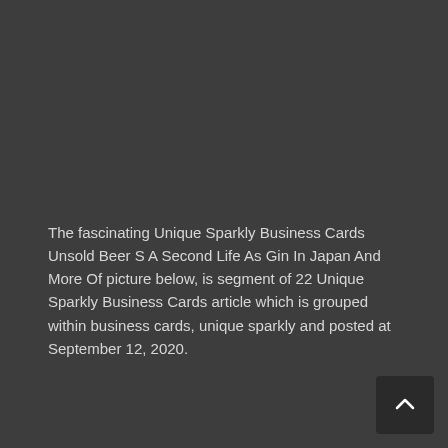The fascinating Unique Sparkly Business Cards Unsold Beer S A Second Life As Gin In Japan And More Of picture below, is segment of 22 Unique Sparkly Business Cards article which is grouped within business cards, unique sparkly and posted at September 12, 2020.
[Figure (other): A scroll-to-top button with an upward chevron arrow icon on a dark background, positioned in the bottom-right corner.]